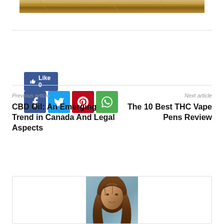[Figure (photo): Top cropped image showing wood grain surface in brown and tan tones]
[Figure (infographic): Like button (Facebook blue) showing 'Like 0', and four social media share buttons: Facebook (dark blue), Twitter (light blue), Pinterest (red), WhatsApp (green)]
Previous article
Next article
CBD Oil: An Emerging Trend in Canada And Legal Aspects
The 10 Best THC Vape Pens Review
[Figure (photo): Author profile photo showing a woman with long brown hair]